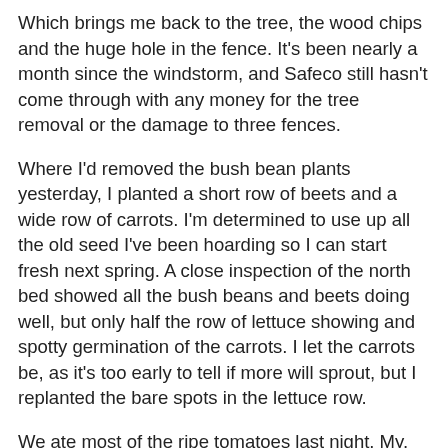Which brings me back to the tree, the wood chips and the huge hole in the fence. It's been nearly a month since the windstorm, and Safeco still hasn't come through with any money for the tree removal or the damage to three fences.
Where I'd removed the bush bean plants yesterday, I planted a short row of beets and a wide row of carrots. I'm determined to use up all the old seed I've been hoarding so I can start fresh next spring. A close inspection of the north bed showed all the bush beans and beets doing well, but only half the row of lettuce showing and spotty germination of the carrots. I let the carrots be, as it's too early to tell if more will sprout, but I replanted the bare spots in the lettuce row.
We ate most of the ripe tomatoes last night. My, they were delicious! Grandson Kevin was visiting for dinner, and he and Mr. H. devoured that huge cucumber I picked yesterday. We also had the green beans I'd picked earlier, and they were so good just boiled with some onion, then tossed with butter, salt and pepper. The new potatoes came from a nearby farmer's market, freshly dug (the dirt still clinging to them).